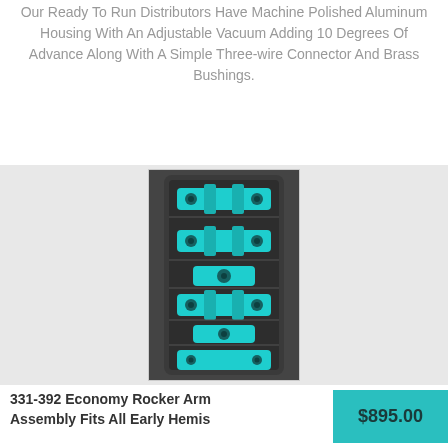Our Ready To Run Distributors Have Machine Polished Aluminum Housing With An Adjustable Vacuum Adding 10 Degrees Of Advance Along With A Simple Three-wire Connector And Brass Bushings.
[Figure (photo): Photo of a 331-392 Economy Rocker Arm Assembly showing teal/cyan colored rocker arms mounted on a dark engine cylinder head, viewed from above.]
331-392 Economy Rocker Arm Assembly Fits All Early Hemis
$895.00